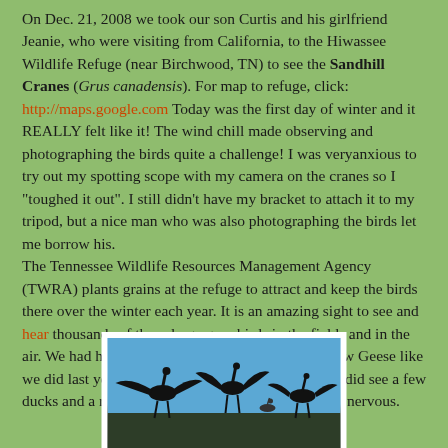On Dec. 21, 2008 we took our son Curtis and his girlfriend Jeanie, who were visiting from California, to the Hiwassee Wildlife Refuge (near Birchwood, TN) to see the Sandhill Cranes (Grus canadensis). For map to refuge, click: http://maps.google.com Today was the first day of winter and it REALLY felt like it! The wind chill made observing and photographing the birds quite a challenge! I was veryanxious to try out my spotting scope with my camera on the cranes so I "toughed it out". I still didn't have my bracket to attach it to my tripod, but a nice man who was also photographing the birds let me borrow his. The Tennessee Wildlife Resources Management Agency (TWRA) plants grains at the refuge to attract and keep the birds there over the winter each year. It is an amazing sight to see and hear thousands of these large gray birds in the fields and in the air. We had hoped to see Whooping Cranes and Snow Geese like we did last year. Those birds were not there, but we did see a few ducks and a red-tail hawk that made the cranes a bit nervous.
[Figure (photo): Photograph of Sandhill Cranes in flight against a blue sky, with bird silhouettes visible]